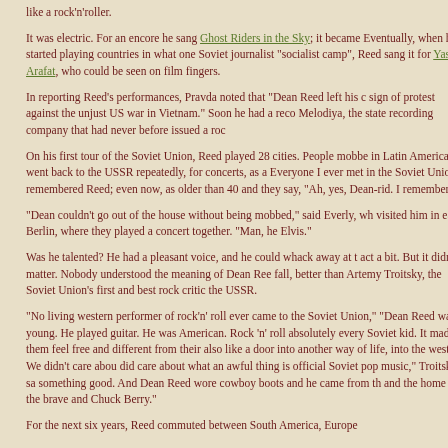like a rock'n'roller.
It was electric. For an encore he sang Ghost Riders in the Sky; it became Eventually, when he started playing countries in what one Soviet journalist "socialist camp", Reed sang it for Yasser Arafat, who could be seen on film fingers.
In reporting Reed's performances, Pravda noted that "Dean Reed left his c sign of protest against the unjust US war in Vietnam." Soon he had a reco Melodiya, the state recording company that had never before issued a roc
On his first tour of the Soviet Union, Reed played 28 cities. People mobbe in Latin America, he went back to the USSR repeatedly, for concerts, as a Everyone I ever met in the Soviet Union remembered Reed; even now, as older than 40 and they say, "Ah, yes, Dean-rid. I remember!"
"Dean couldn't go out of the house without being mobbed," said Everly, w visited him in east Berlin, where they played a concert together. "Man, he Elvis."
Was he talented? He had a pleasant voice, and he could whack away at t act a bit. But it didn't matter. Nobody understood the meaning of Dean Re fall, better than Artemy Troitsky, the Soviet Union's first and best rock critic the USSR.
"No living western performer of rock'n' roll ever came to the Soviet Union," "Dean Reed was young. He played guitar. He was American. Rock 'n' roll absolutely every Soviet kid. It made them feel free and different from their also like a door into another way of life, into the west. We didn't care abou did care about what an awful thing is official Soviet pop music," Troitsky sa something good. And Dean Reed wore cowboy boots and he came from the and the home of the brave and Chuck Berry."
For the next six years, Reed commuted between South America, Europe